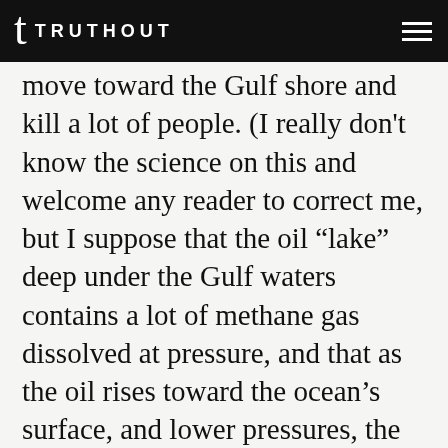TRUTHOUT
move toward the Gulf shore and kill a lot of people. (I really don't know the science on this and welcome any reader to correct me, but I suppose that the oil “lake” deep under the Gulf waters contains a lot of methane gas dissolved at pressure, and that as the oil rises toward the ocean’s surface, and lower pressures, the gas will bubble out of solution.)